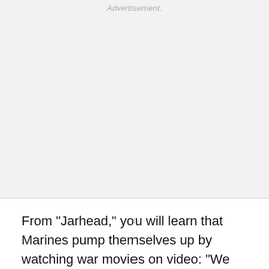[Figure (other): Advertisement placeholder area with light gray background]
From "Jarhead," you will learn that Marines pump themselves up by watching war movies on video: "We yell Semper fi and we head-butt and beat the crap out of each other and we get off on the various visions of